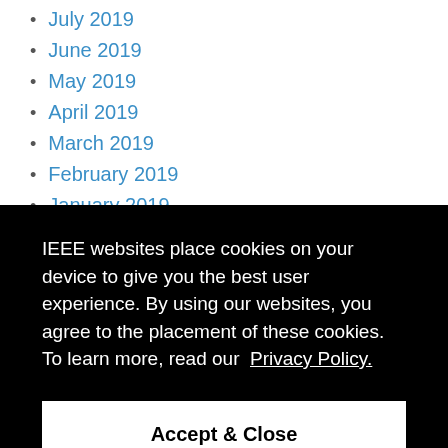July 2019
June 2019
May 2019
April 2019
March 2019
February 2019
January 2019
December 2018
November 2018
IEEE websites place cookies on your device to give you the best user experience. By using our websites, you agree to the placement of these cookies. To learn more, read our Privacy Policy.
Accept & Close
October 2017